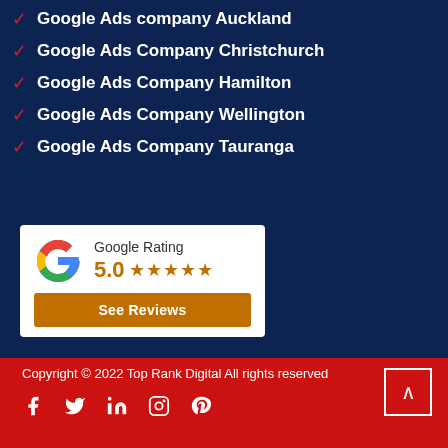Google Ads company Auckland
Google Ads Company Christchurch
Google Ads Company Hamilton
Google Ads Company Wellington
Google Ads Company Tauranga
[Figure (other): Google Rating widget showing 5.0 stars and a See Reviews button]
Copyright © 2022 Top Rank Digital All rights reserved